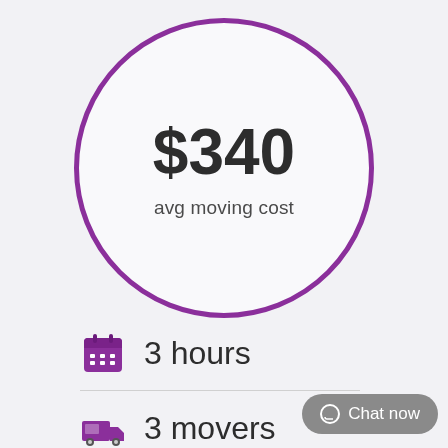[Figure (infographic): Large purple-outlined circle containing price '$340' in bold dark text and subtitle 'avg moving cost' below it]
$340
avg moving cost
3 hours
3 movers
Chat now